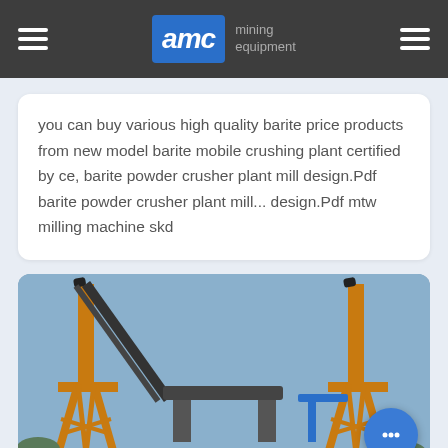AMC mining equipment
you can buy various high quality barite price products from new model barite mobile crushing plant certified by ce, barite powder crusher plant mill design.Pdf barite powder crusher plant mill... design.Pdf mtw milling machine skd
[Figure (photo): Photo of mining conveyor belt equipment / crushing plant with tall orange metal frames against a blue sky]